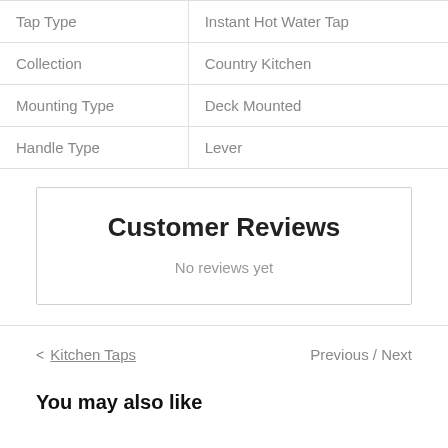| Tap Type | Instant Hot Water Tap |
| Collection | Country Kitchen |
| Mounting Type | Deck Mounted |
| Handle Type | Lever |
Customer Reviews
No reviews yet
< Kitchen Taps   Previous / Next
You may also like